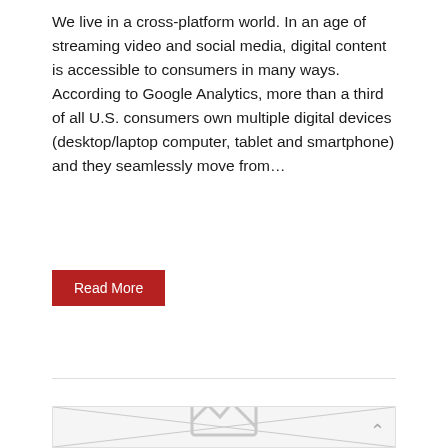We live in a cross-platform world. In an age of streaming video and social media, digital content is accessible to consumers in many ways. According to Google Analytics, more than a third of all U.S. consumers own multiple digital devices (desktop/laptop computer, tablet and smartphone) and they seamlessly move from…
Read More
[Figure (illustration): Placeholder image box with diagonal lines crossing from corners and a broken-image icon in the center-bottom area]